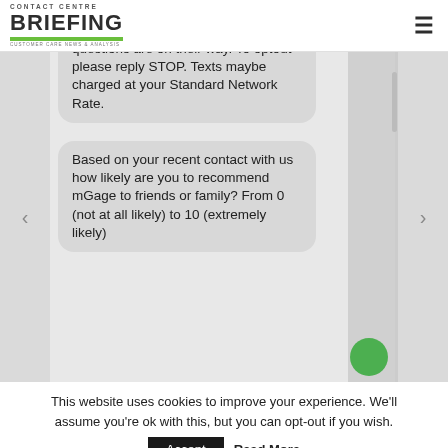CONTACT CENTRE BRIEFING
[Figure (screenshot): Mobile phone screenshot showing SMS conversation with two chat bubbles. First bubble (partially visible at top): 'questions are on their way. To optout please reply STOP. Texts maybe charged at your Standard Network Rate.' Second bubble: 'Based on your recent contact with us how likely are you to recommend mGage to friends or family? From 0 (not at all likely) to 10 (extremely likely)'. A green circle visible at bottom right.]
This website uses cookies to improve your experience. We'll assume you're ok with this, but you can opt-out if you wish.
Accept   Read More